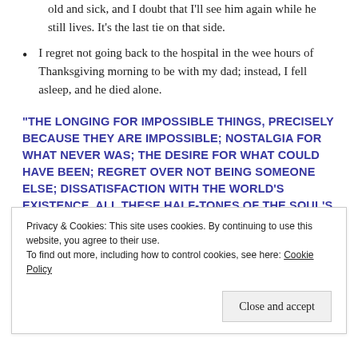old and sick, and I doubt that I'll see him again while he still lives. It's the last tie on that side.
I regret not going back to the hospital in the wee hours of Thanksgiving morning to be with my dad; instead, I fell asleep, and he died alone.
“THE LONGING FOR IMPOSSIBLE THINGS, PRECISELY BECAUSE THEY ARE IMPOSSIBLE; NOSTALGIA FOR WHAT NEVER WAS; THE DESIRE FOR WHAT COULD HAVE BEEN; REGRET OVER NOT BEING SOMEONE ELSE; DISSATISFACTION WITH THE WORLD’S EXISTENCE. ALL THESE HALF-TONES OF THE SOUL’S CONSCIOUSNESS
Privacy & Cookies: This site uses cookies. By continuing to use this website, you agree to their use.
To find out more, including how to control cookies, see here: Cookie Policy